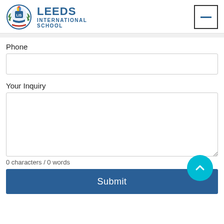[Figure (logo): Leeds International School logo with circular crest and school name text]
Phone
[Figure (screenshot): Empty phone input text field]
Your Inquiry
[Figure (screenshot): Empty large textarea for inquiry]
0 characters / 0 words
[Figure (other): Scroll to top circular cyan button with upward chevron arrow]
Submit